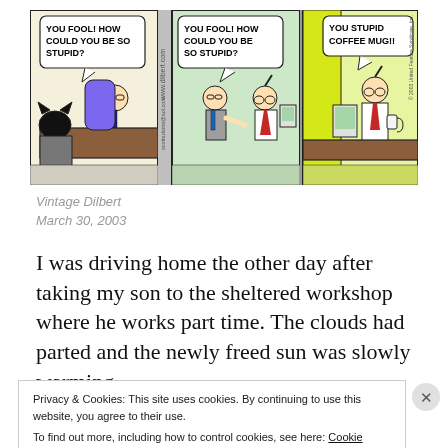[Figure (illustration): Three-panel Dilbert comic strip. Panel 1: Boss yells 'YOU FOOL! HOW COULD YOU BE SO STUPID?' at a character (Dogbert) from behind a desk. Panel 2: Boss yells 'YOU FOOL! HOW COULD YOU BE SO STUPID?' at Dilbert and another character in an office. Panel 3: Dilbert at his desk yells 'YOU STUPID COFFEE MUG!!' at his coffee mug. www.dilbert.com watermark visible. '2003 United Feature Syndicate, Inc.' credit.]
Vintage Dilbert
March 30, 2003
I was driving home the other day after taking my son to the sheltered workshop where he works part time. The clouds had parted and the newly freed sun was slowly warming
Privacy & Cookies: This site uses cookies. By continuing to use this website, you agree to their use.
To find out more, including how to control cookies, see here: Cookie Policy
Close and accept